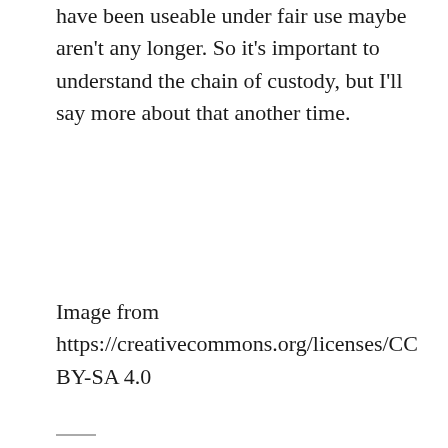have been useable under fair use maybe aren't any longer. So it's important to understand the chain of custody, but I'll say more about that another time.
Image from https://creativecommons.org/licenses/CC BY-SA 4.0
Posted on October 27, 2018
Posted in Audio, History in 5-or-so Minutes, OER
Tagged #OpenLearning, CC.
Leave a comment